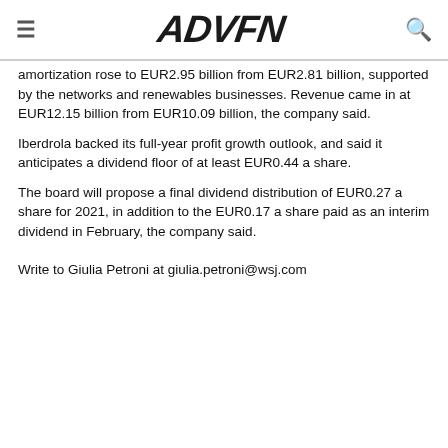ADVFN
amortization rose to EUR2.95 billion from EUR2.81 billion, supported by the networks and renewables businesses. Revenue came in at EUR12.15 billion from EUR10.09 billion, the company said.
Iberdrola backed its full-year profit growth outlook, and said it anticipates a dividend floor of at least EUR0.44 a share.
The board will propose a final dividend distribution of EUR0.27 a share for 2021, in addition to the EUR0.17 a share paid as an interim dividend in February, the company said.
Write to Giulia Petroni at giulia.petroni@wsj.com